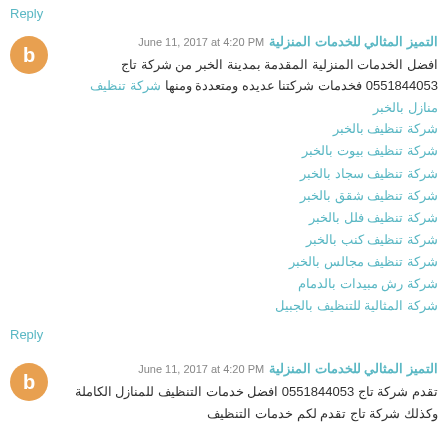Reply
التميز المثالي للخدمات المنزلية June 11, 2017 at 4:20 PM
افضل الخدمات المنزلية المقدمة بمدينة الخبر من شركة تاج 0551844053 فخدمات شركتنا عديده ومتعددة ومنها شركة تنظيف منازل بالخبر
شركة تنظيف بالخبر
شركة تنظيف بيوت بالخبر
شركة تنظيف سجاد بالخبر
شركة تنظيف شقق بالخبر
شركة تنظيف فلل بالخبر
شركة تنظيف كنب بالخبر
شركة تنظيف مجالس بالخبر
شركة رش مبيدات بالدمام
شركة المثالية للتنظيف بالجبيل
Reply
التميز المثالي للخدمات المنزلية June 11, 2017 at 4:20 PM
تقدم شركة تاج 0551844053 افضل خدمات التنظيف للمنازل الكاملة...